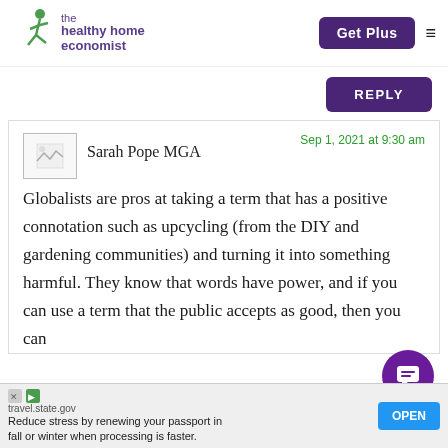[Figure (logo): The Healthy Home Economist logo with green jumping figure and purple text]
Get Plus
REPLY
Sarah Pope MGA
Sep 1, 2021 at 9:30 am
Globalists are pros at taking a term that has a positive connotation such as upcycling (from the DIY and gardening communities) and turning it into something harmful. They know that words have power, and if you can use a term that the public accepts as good, then you can
travel.state.gov
Reduce stress by renewing your passport in fall or winter when processing is faster.
OPEN